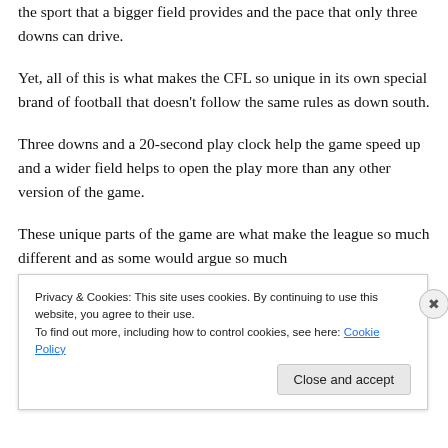the sport that a bigger field provides and the pace that only three downs can drive.
Yet, all of this is what makes the CFL so unique in its own special brand of football that doesn't follow the same rules as down south.
Three downs and a 20-second play clock help the game speed up and a wider field helps to open the play more than any other version of the game.
These unique parts of the game are what make the league so much different and as some would argue so much
Privacy & Cookies: This site uses cookies. By continuing to use this website, you agree to their use.
To find out more, including how to control cookies, see here: Cookie Policy
Close and accept